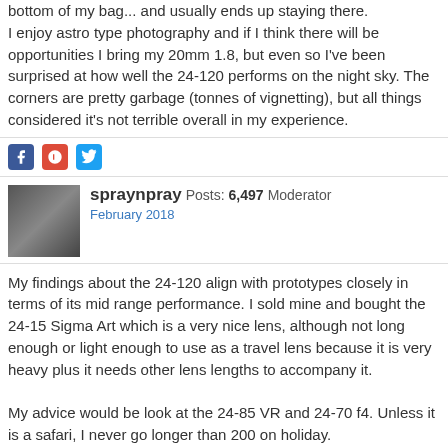bottom of my bag... and usually ends up staying there.
I enjoy astro type photography and if I think there will be opportunities I bring my 20mm 1.8, but even so I've been surprised at how well the 24-120 performs on the night sky. The corners are pretty garbage (tonnes of vignetting), but all things considered it's not terrible overall in my experience.
[Figure (other): Social sharing icons: Facebook, Google+, Twitter]
spraynpray Posts: 6,497  Moderator
February 2018
My findings about the 24-120 align with prototypes closely in terms of its mid range performance. I sold mine and bought the 24-15 Sigma Art which is a very nice lens, although not long enough or light enough to use as a travel lens because it is very heavy plus it needs other lens lengths to accompany it.

My advice would be look at the 24-85 VR and 24-70 f4. Unless it is a safari, I never go longer than 200 on holiday.
[Figure (other): Social sharing icons: Facebook, Google+, Twitter]
heartyfisher Posts: 3,185  Member